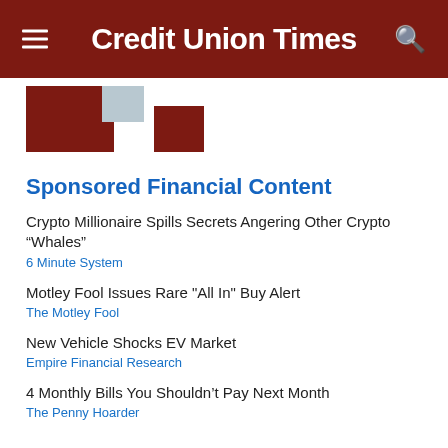Credit Union Times
Sponsored Financial Content
Crypto Millionaire Spills Secrets Angering Other Crypto “Whales”
6 Minute System
Motley Fool Issues Rare "All In" Buy Alert
The Motley Fool
New Vehicle Shocks EV Market
Empire Financial Research
4 Monthly Bills You Shouldn’t Pay Next Month
The Penny Hoarder